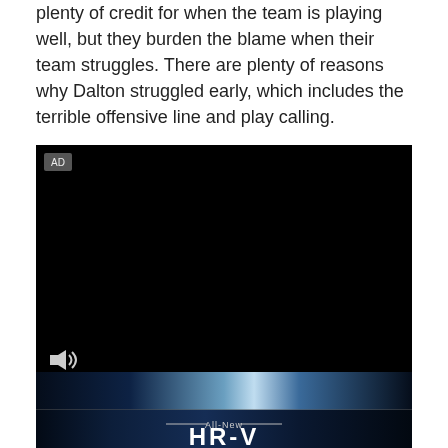plenty of credit for when the team is playing well, but they burden the blame when their team struggles. There are plenty of reasons why Dalton struggled early, which includes the terrible offensive line and play calling.
[Figure (other): Video advertisement player showing a black screen with AD label in top-left corner, speaker/mute icon at bottom-left, and a Honda HR-V advertisement banner at the bottom showing 'All-New HR-V' text on a dark blue abstract background.]